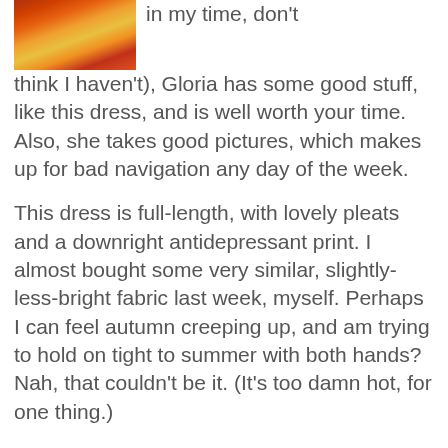[Figure (photo): Partial photo of colorful fabric/dress in red, orange, and yellow tones, shown in top-left corner]
in my time, don't think I haven't), Gloria has some good stuff, like this dress, and is well worth your time. Also, she takes good pictures, which makes up for bad navigation any day of the week.

This dress is full-length, with lovely pleats and a downright antidepressant print. I almost bought some very similar, slightly-less-bright fabric last week, myself. Perhaps I can feel autumn creeping up, and am trying to hold on tight to summer with both hands? Nah, that couldn't be it. (It's too damn hot, for one thing.)

Things I love about this dress (besides the fabric): the deep vee neck; the midriff band; the long skirt; and the foofy cuffs (you'll have to go to the site to see those last two). If I were only a few inches taller